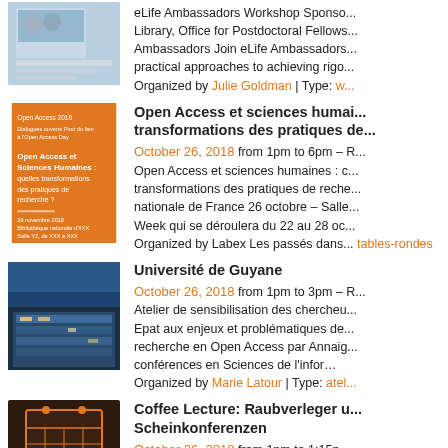[Figure (photo): eLife Ambassadors event thumbnail image]
eLife Ambassadors Workshop Sponsored by... Library, Office for Postdoctoral Fellows... Ambassadors Join eLife Ambassadors... practical approaches to achieving rigor... Organized by Julie Goldman | Type: w...
[Figure (photo): Open Access et sciences humaines event poster - orange background]
Open Access et sciences humaines / transformations des pratiques de...
October 26, 2018 from 1pm to 6pm – R... Open Access et sciences humaines : c... transformations des pratiques de reche... nationale de France 26 octobre – Salle... Week qui se déroulera du 22 au 28 oc... Organized by Labex Les passés dans... tables-rondes
[Figure (photo): Université de Guyane building photo]
Université de Guyane
October 26, 2018 from 1pm to 3pm – R... Atelier de sensibilisation des chercheu... Epat aux enjeux et problématiques de... recherche en Open Access par Annaig... conférences en Sciences de l'infor… Organized by Marie Latour | Type: atel...
[Figure (photo): Coffee Lecture event dark thumbnail]
Coffee Lecture: Raubverleger u... Scheinkonferenzen
October 26, 2018 from 1pm to 1:15p...